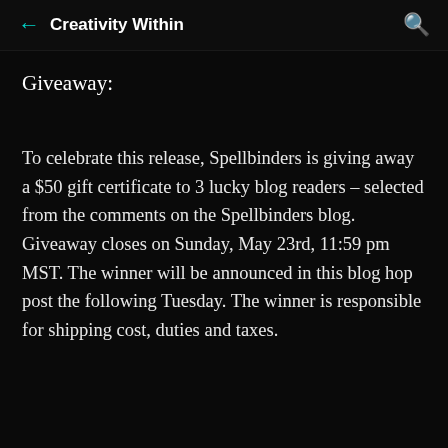← Creativity Within 🔍
Giveaway:
To celebrate this release, Spellbinders is giving away a $50 gift certificate to 3 lucky blog readers – selected from the comments on the Spellbinders blog. Giveaway closes on Sunday, May 23rd, 11:59 pm MST. The winner will be announced in this blog hop post the following Tuesday. The winner is responsible for shipping cost, duties and taxes.